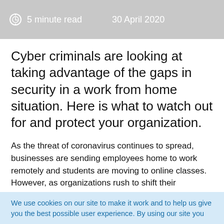5 minute read   30 April 2020
Cyber criminals are looking at taking advantage of the gaps in security in a work from home situation. Here is what to watch out for and protect your organization.
As the threat of coronavirus continues to spread, businesses are sending employees home to work remotely and students are moving to online classes. However, as organizations rush to shift their businesses and classes online, cybercriminals are ramping up their tactics to take advantage of those who may have
We use cookies on our site to make it work and to help us give you the best possible user experience. By using our site you